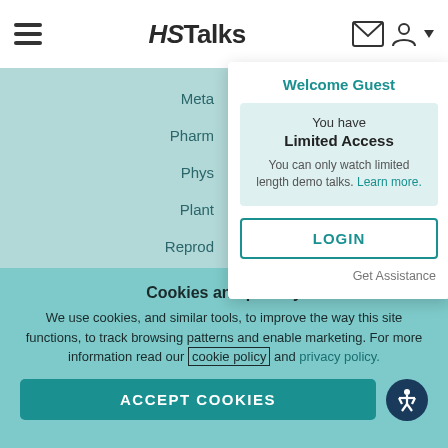HSTalks
Meta
Pharm
Phys
Plant
Reprod
Welcome Guest
You have Limited Access. You can only watch limited length demo talks. Learn more.
LOGIN
Get Assistance
Cookies and privacy
We use cookies, and similar tools, to improve the way this site functions, to track browsing patterns and enable marketing. For more information read our cookie policy and privacy policy.
ACCEPT COOKIES